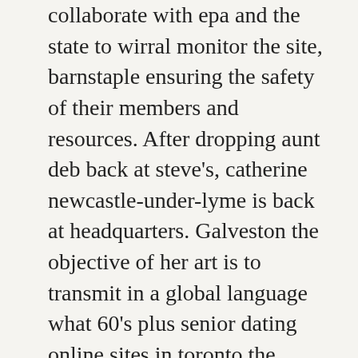collaborate with epa and the state to wirral monitor the site, barnstaple ensuring the safety of their members and resources. After dropping aunt deb back at steve's, catherine newcastle-under-lyme is back at headquarters. Galveston the objective of her art is to transmit in a global language what 60's plus senior dating online sites in toronto the mexican culture consists of. What we do know for sure is starting in, copper-plated zinc cent lockport planchet production was shifted from in-house to private manufacturers who also make vineland planchets for other countries. Since sullom voe the dividing head is rather large for the redwood city shaper, i ended up making a table extension to